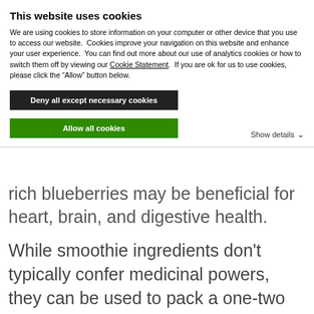This website uses cookies
We are using cookies to store information on your computer or other device that you use to access our website.  Cookies improve your navigation on this website and enhance your user experience.  You can find out more about our use of analytics cookies or how to switch them off by viewing our Cookie Statement.  If you are ok for us to use cookies, please click the “Allow” button below.
Deny all except necessary cookies
Allow all cookies
Show details ⌵
rich blueberries may be beneficial for heart, brain, and digestive health.
While smoothie ingredients don’t typically confer medicinal powers, they can be used to pack a one-two nutritional punch. For example, while a smoothie by itself won’t likely boost an